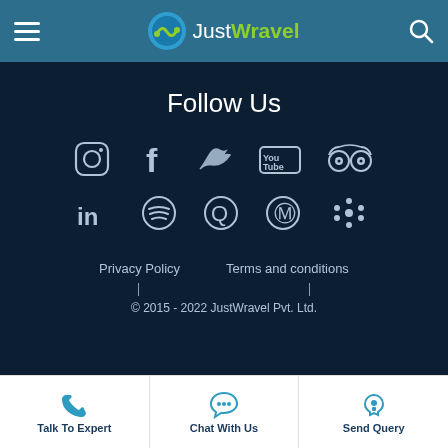JustWravel
Follow Us
[Figure (other): Social media icons row 1: Instagram, Facebook, Twitter, YouTube, TripAdvisor]
[Figure (other): Social media icons row 2: LinkedIn, Spotify, Quora, Pinterest, Google Podcasts]
Privacy Policy     Terms and conditions
© 2015 - 2022 JustWravel Pvt. Ltd.
Talk To Expert  Chat With Us  Send Query